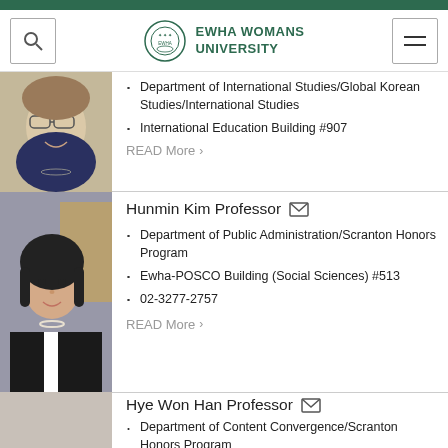[Figure (logo): Ewha Womans University logo with crest and text]
[Figure (photo): Female professor with glasses, smiling (partial view at top)]
Department of International Studies/Global Korean Studies/International Studies
International Education Building #907
READ More >
[Figure (photo): Hunmin Kim Professor photo - woman in black jacket]
Hunmin Kim Professor
Department of Public Administration/Scranton Honors Program
Ewha-POSCO Building (Social Sciences) #513
02-3277-2757
READ More >
Hye Won Han Professor
Department of Content Convergence/Scranton Honors Program